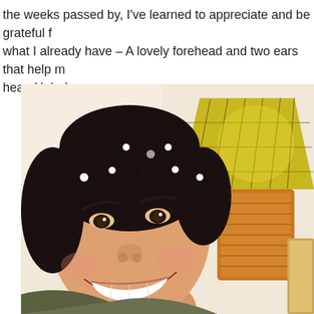the weeks passed by, I've learned to appreciate and be grateful for what I already have – A lovely forehead and two ears that help me hear. Haha!
[Figure (photo): Selfie of a smiling young woman wearing a black and white polka-dot headband/bow, with a decorative lamp with a yellow/green shade and an orange textured base visible in the background. The woman has dark hair pulled back and is smiling broadly.]